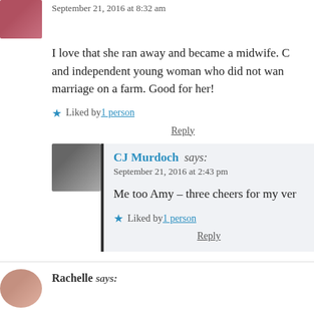September 21, 2016 at 8:32 am
I love that she ran away and became a midwife. C and independent young woman who did not wan marriage on a farm. Good for her!
Liked by 1 person
Reply
CJ Murdoch says:
September 21, 2016 at 2:43 pm
Me too Amy – three cheers for my ver
Liked by 1 person
Reply
Rachelle says: